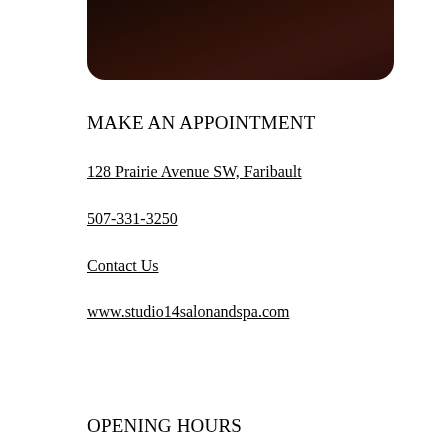[Figure (photo): Dark brown rounded rectangle image, cropped at top — appears to be a salon/spa interior or product photo with very dark brown tones]
MAKE AN APPOINTMENT
128 Prairie Avenue SW, Faribault
507-331-3250
Contact Us
www.studio14salonandspa.com
OPENING HOURS